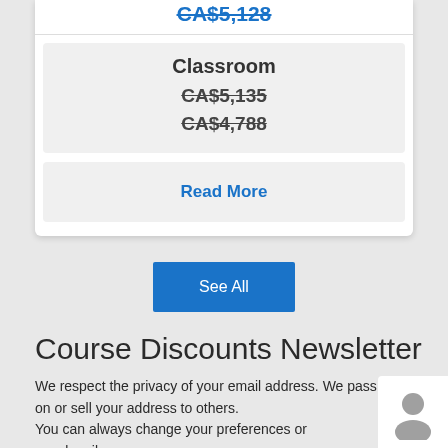CA$5,128 (strikethrough, blue, partial top)
Classroom
CA$5,135 (strikethrough)
CA$4,788 (strikethrough)
Read More
See All
Course Discounts Newsletter
We respect the privacy of your email address. We pass on or sell your address to others.
You can always change your preferences or unsubscribe